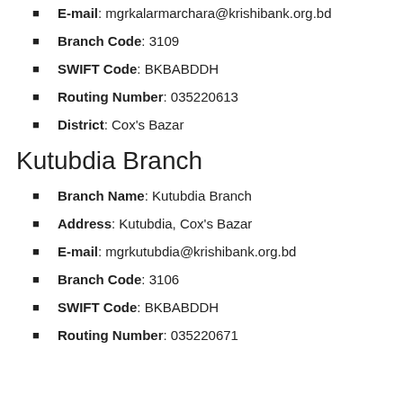E-mail: mgrkalarmarchara@krishibank.org.bd
Branch Code: 3109
SWIFT Code: BKBABDDH
Routing Number: 035220613
District: Cox's Bazar
Kutubdia Branch
Branch Name: Kutubdia Branch
Address: Kutubdia, Cox's Bazar
E-mail: mgrkutubdia@krishibank.org.bd
Branch Code: 3106
SWIFT Code: BKBABDDH
Routing Number: 035220671